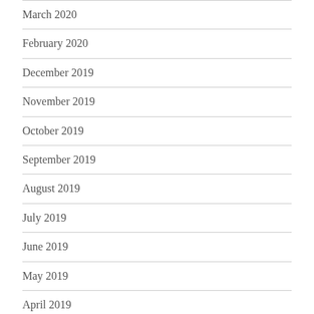March 2020
February 2020
December 2019
November 2019
October 2019
September 2019
August 2019
July 2019
June 2019
May 2019
April 2019